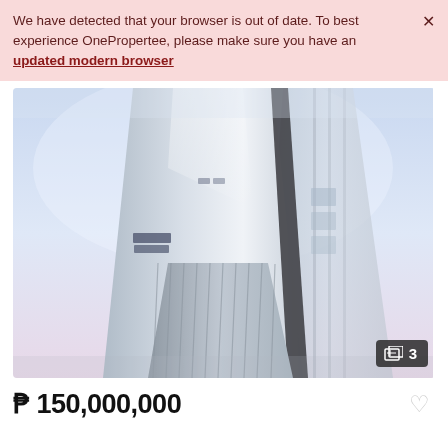We have detected that your browser is out of date. To best experience OnePropertee, please make sure you have an updated modern browser
[Figure (photo): Looking-up architectural photo of tall modern reflective glass/metal building towers against a light blue sky, viewed from below at a dramatic upward angle.]
₱ 150,000,000